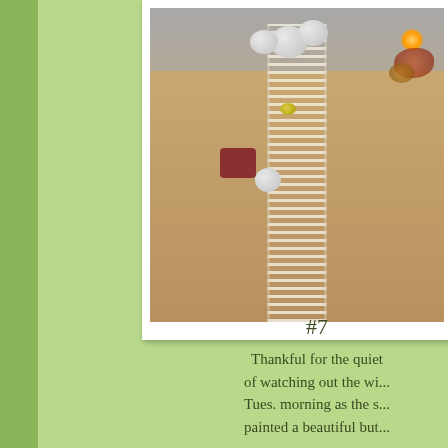[Figure (photo): A photo of a decorated table with white pumpkins, autumn decorations, a lace table runner, candles, and a small decorative plate on a wooden table surface.]
#7
Thankful for the quiet of watching out the wi... Tues. morning as the s... painted a beautiful but...